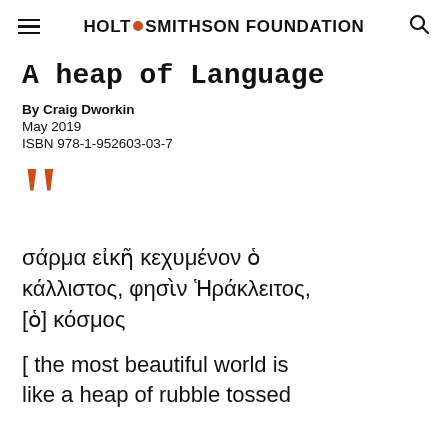HOLT SMITHSON FOUNDATION
A heap of Language
By Craig Dworkin
May 2019
ISBN 978-1-952603-03-7
[Figure (illustration): Large decorative orange opening double quotation mark]
σάρμα εἰκῆ κεχυμένον ὁ κάλλιστος, φησὶν Ἡράκλειτος, [ὁ] κόσμος
[ the most beautiful world is like a heap of rubble tossed